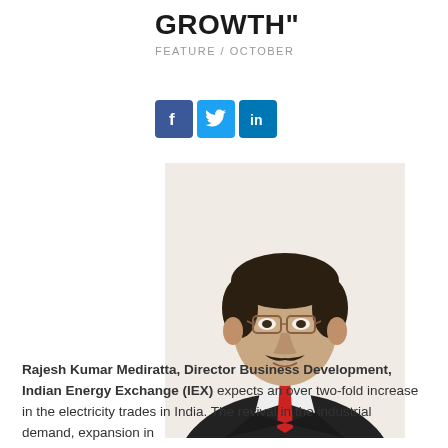GROWTH"
FEATURE / OCTOBER
[Figure (infographic): Social media share icons: Facebook (blue f), Twitter (light blue bird), LinkedIn (blue in)]
[Figure (photo): Professional headshot of Rajesh Kumar Mediratta, a middle-aged man in a dark suit with a red tie and glasses, with dark hair]
Rajesh Kumar Mediratta, Director Business Development, Indian Energy Exchange (IEX) expects an over two-fold increase in the electricity trades in India. The revival in the industrial demand, expansion in